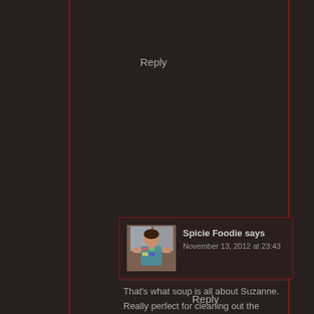Reply
[Figure (photo): Avatar photo of Spicie Foodie, a woman in a colorful top standing in a kitchen]
Spicie Foodie says
November 13, 2012 at 23:43
That's what soup is all about Suzanne. Really perfect for cleaning out the cupboards and refrigerator:)
Reply